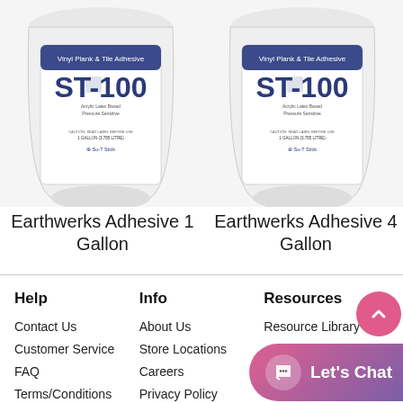[Figure (photo): Two white buckets of ST-100 Vinyl Plank & Tile Adhesive by Su-T Stick, labeled Earthwerks Adhesive 1 Gallon and Earthwerks Adhesive 4 Gallon]
Earthwerks Adhesive 1 Gallon
Earthwerks Adhesive 4 Gallon
Help  Info  Resources
Contact Us  About Us  Resource Library
Customer Service  Store Locations
FAQ  Careers
Terms/Conditions  Privacy Policy  Environment...
[Figure (other): Let's Chat button overlay with chat bubble icon]